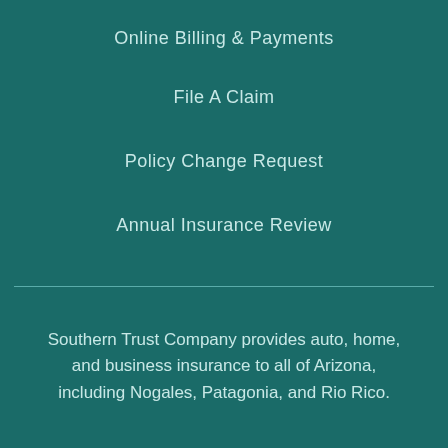Online Billing & Payments
File A Claim
Policy Change Request
Annual Insurance Review
Southern Trust Company provides auto, home, and business insurance to all of Arizona, including Nogales, Patagonia, and Rio Rico.